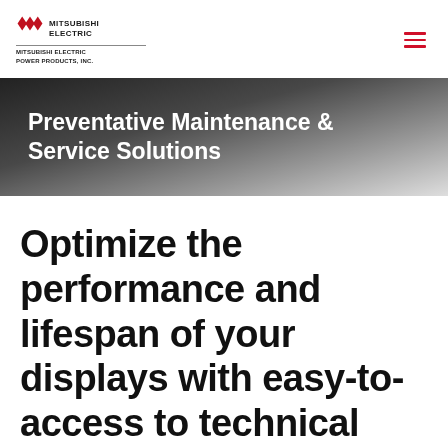MITSUBISHI ELECTRIC — MITSUBISHI ELECTRIC POWER PRODUCTS, INC.
Preventative Maintenance & Service Solutions
Optimize the performance and lifespan of your displays with easy-to-access to technical